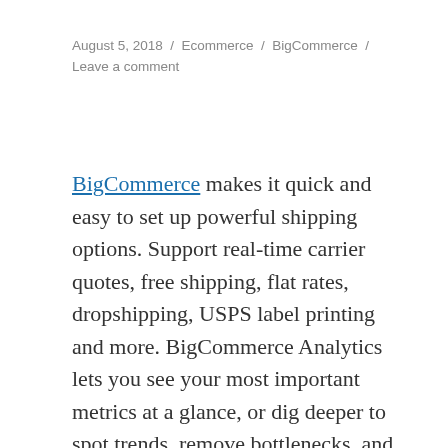August 5, 2018 / Ecommerce / BigCommerce / Leave a comment
BigCommerce makes it quick and easy to set up powerful shipping options. Support real-time carrier quotes, free shipping, flat rates, dropshipping, USPS label printing and more. BigCommerce Analytics lets you see your most important metrics at a glance, or dig deeper to spot trends, remove bottlenecks, and increase customer loyalty. BigCommerce don't charge you a fee for using your preferred payment solutions. You'll get access to the best gateways at the best rates, digital wallets like Amazon Pay and Apple Pay to boost mobile